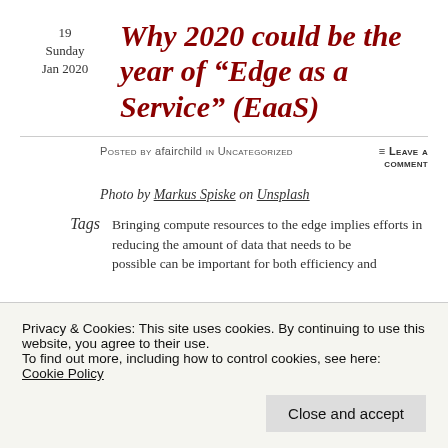19 Sunday Jan 2020
Why 2020 could be the year of “Edge as a Service” (EaaS)
Posted by afairchild in Uncategorized
≡ Leave a comment
Photo by Markus Spiske on Unsplash
Tags
Bringing compute resources to the edge implies efforts in reducing the amount of data that needs to be possible can be important for both efficiency and
Privacy & Cookies: This site uses cookies. By continuing to use this website, you agree to their use. To find out more, including how to control cookies, see here: Cookie Policy
Close and accept